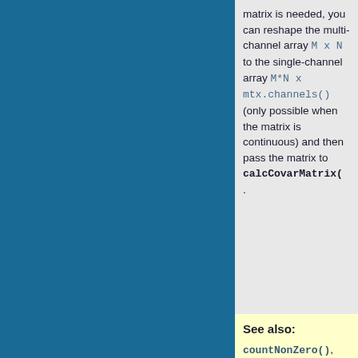matrix is needed, you can reshape the multi-channel array M x N to the single-channel array M*N x mtx.channels() (only possible when the matrix is continuous) and then pass the matrix to calcCovarMatrix().
See also: countNonZero(), mean(), norm(), minMaxLoc(), calcCovarMatrix()